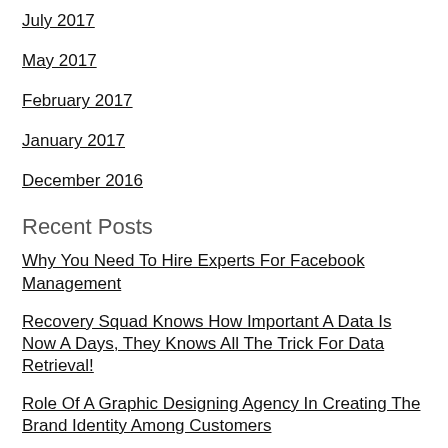July 2017
May 2017
February 2017
January 2017
December 2016
Recent Posts
Why You Need To Hire Experts For Facebook Management
Recovery Squad Knows How Important A Data Is Now A Days, They Knows All The Trick For Data Retrieval!
Role Of A Graphic Designing Agency In Creating The Brand Identity Among Customers
What Happens When There Is No Proper Electronic